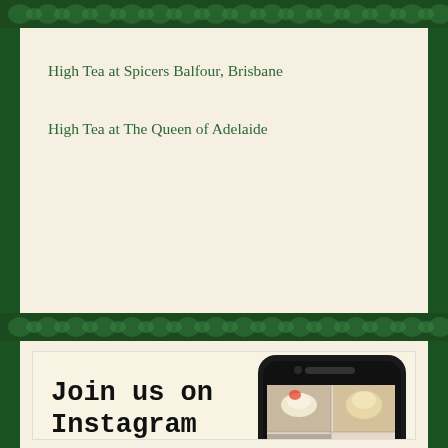High Tea at Spicers Balfour, Brisbane
High Tea at The Queen of Adelaide
[Figure (infographic): Instagram promotion banner showing a smartphone with food/high tea photos on screen, text 'Join us on Instagram @highteasociety']